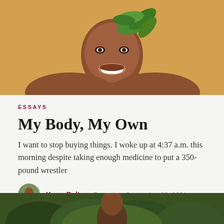[Figure (photo): Person smiling with green leaves in hair against a golden/yellow background, shoulders visible, cropped at upper chest]
ESSAYS
My Body, My Own
I want to stop buying things. I woke up at 4:37 a.m. this morning despite taking enough medicine to put a 350-pound wrestler
Kerra Bolton   Posted on September 28, 2021
[Figure (photo): Partial photo at bottom of page showing a person outdoors with green trees/foliage in background]